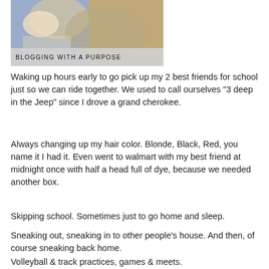[Figure (photo): Close-up photograph of a baby being held, with an adult's hands visible. Text overlay reads 'BLOGGING WITH A PURPOSE'.]
Waking up hours early to go pick up my 2 best friends for school just so we can ride together. We used to call ourselves "3 deep in the Jeep" since I drove a grand cherokee.
Always changing up my hair color. Blonde, Black, Red, you name it I had it. Even went to walmart with my best friend at midnight once with half a head full of dye, because we needed another box.
Skipping school. Sometimes just to go home and sleep.
Sneaking out, sneaking in to other people's house. And then, of course sneaking back home.
Volleyball & track practices, games & meets.